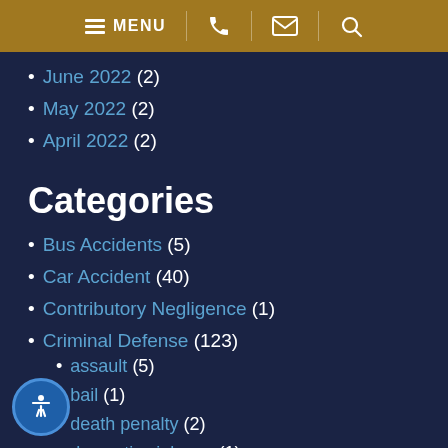MENU [navigation bar with phone, email, search icons]
June 2022 (2)
May 2022 (2)
April 2022 (2)
Categories
Bus Accidents (5)
Car Accident (40)
Contributory Negligence (1)
Criminal Defense (123)
assault (5)
bail (1)
death penalty (2)
domestic violence (1)
drivers license suspension (7)